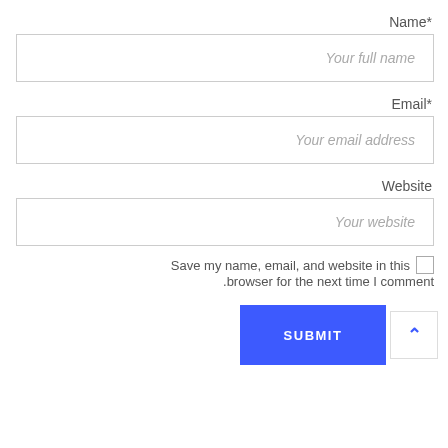Name*
[Figure (other): Text input field with placeholder 'Your full name']
Email*
[Figure (other): Text input field with placeholder 'Your email address']
Website
[Figure (other): Text input field with placeholder 'Your website']
Save my name, email, and website in this .browser for the next time I comment
SUBMIT